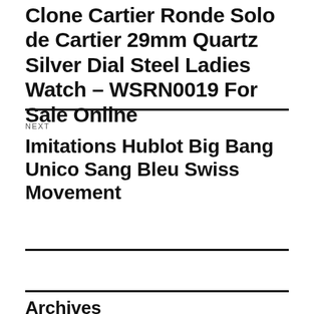Clone Cartier Ronde Solo de Cartier 29mm Quartz Silver Dial Steel Ladies Watch – WSRN0019 For Sale Online
NEXT
Imitations Hublot Big Bang Unico Sang Bleu Swiss Movement
Archives